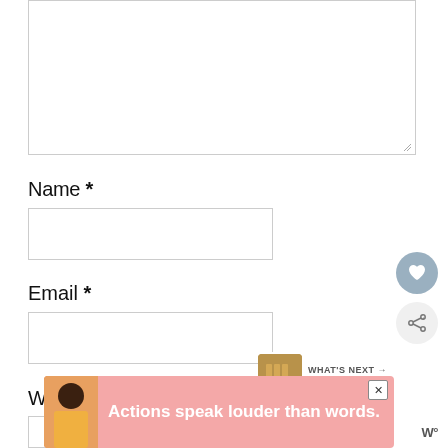[Figure (screenshot): Comment form textarea box (large empty input area with resize handle at bottom right)]
Name *
[Figure (screenshot): Name text input field (empty)]
[Figure (screenshot): Heart/like button (circular gray-blue button with heart icon)]
Email *
[Figure (screenshot): Email text input field (empty)]
[Figure (screenshot): Share button (circular light gray button with share icon)]
[Figure (screenshot): What's Next panel with thumbnail image and text 'The King & I']
Website
[Figure (screenshot): Website text input field (empty, partially visible)]
[Figure (screenshot): Advertisement banner with person image and text 'Actions speak louder than words.']